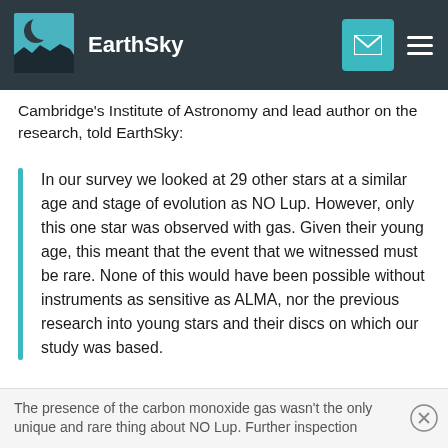EarthSky
Cambridge's Institute of Astronomy and lead author on the research, told EarthSky:
In our survey we looked at 29 other stars at a similar age and stage of evolution as NO Lup. However, only this one star was observed with gas. Given their young age, this meant that the event that we witnessed must be rare. None of this would have been possible without instruments as sensitive as ALMA, nor the previous research into young stars and their discs on which our study was based.
The presence of the carbon monoxide gas wasn't the only unique and rare thing about NO Lup. Further inspection